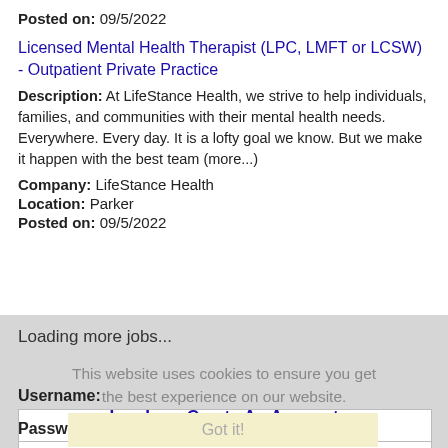Posted on: 09/5/2022
Licensed Mental Health Therapist (LPC, LMFT or LCSW) - Outpatient Private Practice
Description: At LifeStance Health, we strive to help individuals, families, and communities with their mental health needs. Everywhere. Every day. It is a lofty goal we know. But we make it happen with the best team (more...)
Company: LifeStance Health
Location: Parker
Posted on: 09/5/2022
Loading more jobs...
This website uses cookies to ensure you get the best experience on our website.
Log In or Create An Account
Learn more
Username:
Got it!
Password: